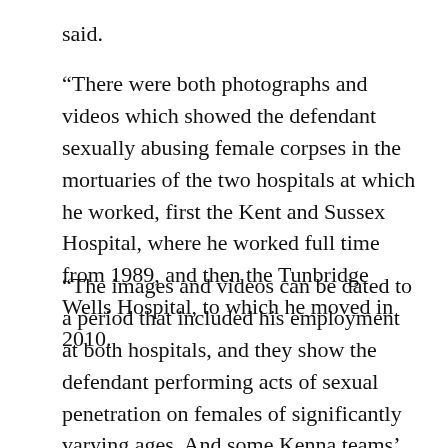said.
“There were both photographs and videos which showed the defendant sexually abusing female corpses in the mortuaries of the two hospitals at which he worked, first the Kent and Sussex Hospital, where he worked full time from 1989, and then the Tunbridge Wells Hospital, to which he moved in 2010.
“The images and videos can be dated to a period that included his employment at both hospitals, and they show the defendant performing acts of sexual penetration on females of significantly varying ages. And some Kenna teams’ title hopes.”